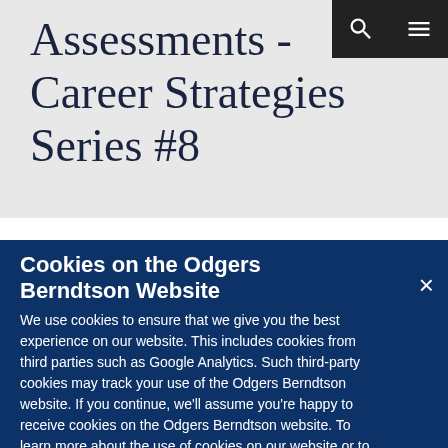Assessments - Career Strategies Series #8
Cookies on the Odgers Berndtson Website
We use cookies to ensure that we give you the best experience on our website. This includes cookies from third parties such as Google Analytics. Such third-party cookies may track your use of the Odgers Berndtson website. If you continue, we'll assume you're happy to receive cookies on the Odgers Berndtson website. To learn more about the use of cookies on our website or to opt out from them, please visit our Privacy Policy.